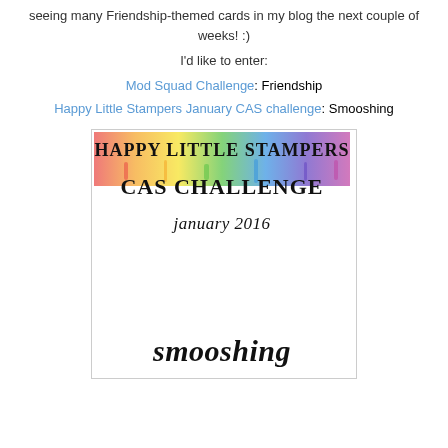seeing many Friendship-themed cards in my blog the next couple of weeks! :)
I'd like to enter:
Mod Squad Challenge: Friendship
Happy Little Stampers January CAS challenge: Smooshing
[Figure (illustration): Happy Little Stampers CAS Challenge January 2016 Smooshing badge image with rainbow watercolor background at top and bold text]